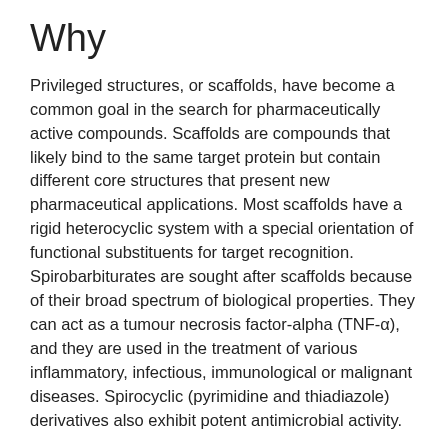Why
Privileged structures, or scaffolds, have become a common goal in the search for pharmaceutically active compounds. Scaffolds are compounds that likely bind to the same target protein but contain different core structures that present new pharmaceutical applications. Most scaffolds have a rigid heterocyclic system with a special orientation of functional substituents for target recognition. Spirobarbiturates are sought after scaffolds because of their broad spectrum of biological properties. They can act as a tumour necrosis factor-alpha (TNF-α), and they are used in the treatment of various inflammatory, infectious, immunological or malignant diseases. Spirocyclic (pyrimidine and thiadiazole) derivatives also exhibit potent antimicrobial activity.
Once a new scaffold is synthesized, it must be paired with a target protein for pharmaceutical use. However, the search for target proteins for newly synthesized compounds is non-trivial. As the researchers point out: in 2020, there were 163,633 registered, preorganized structures in the Research Collaboratory for Structural Bioinformatics Protein Data Bank (RCSB PDB). This makes a non-automated, manual analysis and enumerative search of a protein-ligand pair unreasonable. Instead, the researchers